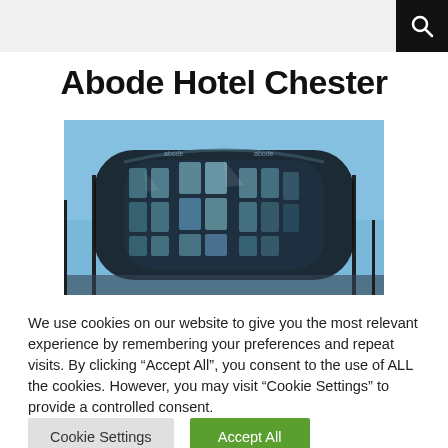Abode Hotel Chester
[Figure (photo): Exterior photograph of Abode Hotel Chester — a modern curved glass building with multiple floors of large windows, under a clear blue sky with bare trees visible at the edges.]
We use cookies on our website to give you the most relevant experience by remembering your preferences and repeat visits. By clicking “Accept All”, you consent to the use of ALL the cookies. However, you may visit "Cookie Settings" to provide a controlled consent.
Cookie Settings   Accept All